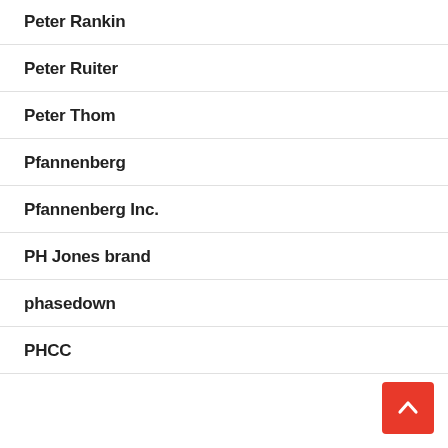Peter Rankin
Peter Ruiter
Peter Thom
Pfannenberg
Pfannenberg Inc.
PH Jones brand
phasedown
PHCC